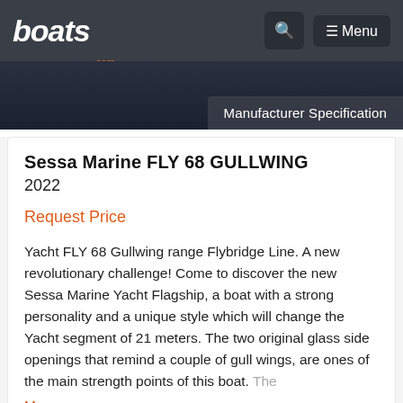boats.com — Menu
[Figure (screenshot): Dark blue boat image strip at top of listing page with Manufacturer Specification badge]
Sessa Marine FLY 68 GULLWING
2022
Request Price
Yacht FLY 68 Gullwing range Flybridge Line. A new revolutionary challenge! Come to discover the new Sessa Marine Yacht Flagship, a boat with a strong personality and a unique style which will change the Yacht segment of 21 meters. The two original glass side openings that remind a couple of gull wings, are ones of the main strength points of this boat. The More...
Sort By
Filter Search